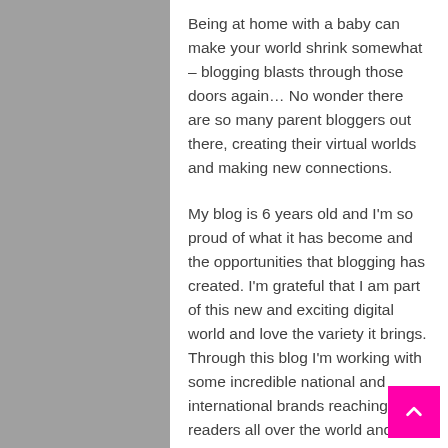Being at home with a baby can make your world shrink somewhat – blogging blasts through those doors again… No wonder there are so many parent bloggers out there, creating their virtual worlds and making new connections.
My blog is 6 years old and I'm so proud of what it has become and the opportunities that blogging has created. I'm grateful that I am part of this new and exciting digital world and love the variety it brings. Through this blog I'm working with some incredible national and international brands reaching readers all over the world and continuing to learn new skills.